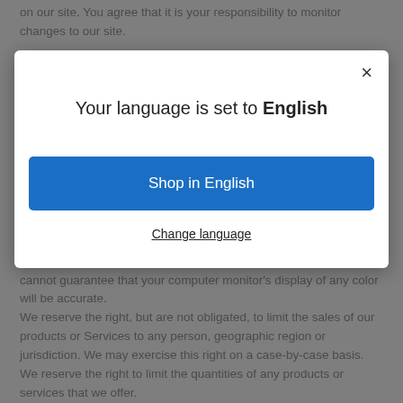on our site. You agree that it is your responsibility to monitor changes to our site.
SECTION 4 - MODIFICATIONS TO THE SERVICE AND PRICES
Prices for our products are subject to change without notice.
We reserve the right at any time to modify or discontinue the Service
[Figure (screenshot): Modal dialog box with close button (×), heading 'Your language is set to English', a blue button 'Shop in English', and a text link 'Change language']
cannot guarantee that your computer monitor's display of any color will be accurate.
We reserve the right, but are not obligated, to limit the sales of our products or Services to any person, geographic region or jurisdiction. We may exercise this right on a case-by-case basis. We reserve the right to limit the quantities of any products or services that we offer.